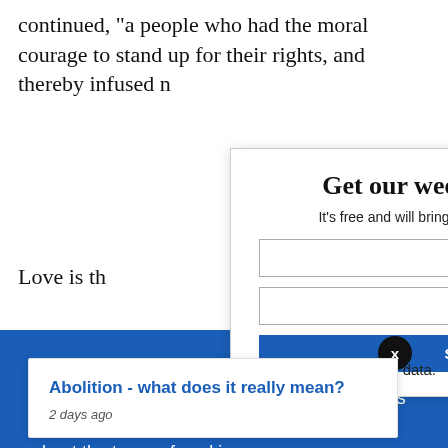continued, “a people who had the moral courage to stand up for their rights, and thereby infused n…
Love is th…
[Figure (screenshot): Get our weekly email modal overlay with close button. Text: 'It’s free and will bring you the best from'. Input fields and blue subscribe button partially visible.]
[Figure (screenshot): Blue cookie consent banner with text: 'We use necessary cookies that allow our site to work. We also set optional cookies that help us improve our website. For more information about the types of cookies we use. READ OUR COOKIES POLICY HERE'. Two buttons: COOKIE and ALLOW. Settings link at bottom.]
[Figure (screenshot): Black circular X dismiss button overlaid on cookie banner.]
[Figure (screenshot): Tooltip popup card showing: 'Abolition - what does it really mean?' link in blue, '2 days ago' in italic gray.]
data.
but only…